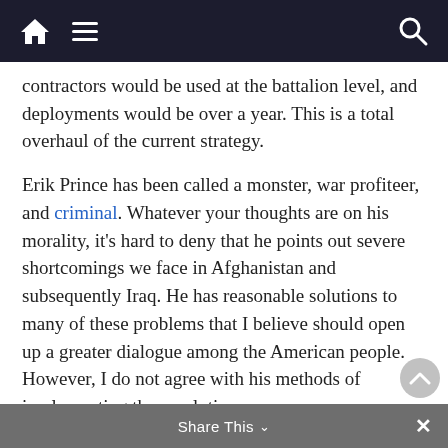Navigation bar with home, menu, and search icons
contractors would be used at the battalion level, and deployments would be over a year. This is a total overhaul of the current strategy.
Erik Prince has been called a monster, war profiteer, and criminal. Whatever your thoughts are on his morality, it's hard to deny that he points out severe shortcomings we face in Afghanistan and subsequently Iraq. He has reasonable solutions to many of these problems that I believe should open up a greater dialogue among the American people. However, I do not agree with his methods of implementing these solutions.
President Trump has chosen to continue using U.S. soldiers to complete the mission on the same platform as before. Troop size and duration
Share This ∨  ×